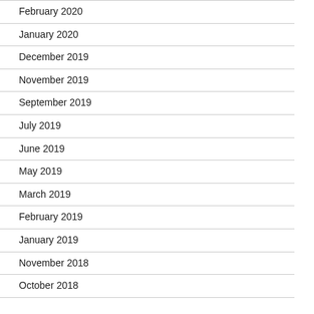February 2020
January 2020
December 2019
November 2019
September 2019
July 2019
June 2019
May 2019
March 2019
February 2019
January 2019
November 2018
October 2018